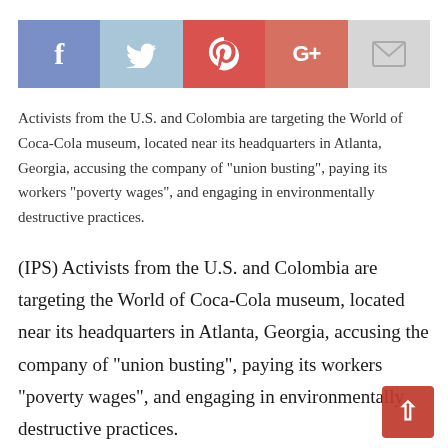[Figure (infographic): Social share bar with five buttons: Facebook (blue-purple), Twitter (light blue), Pinterest (red), Google+ (salmon/red), Email (light gray). Icons are f, bird, @, G+, envelope.]
Activists from the U.S. and Colombia are targeting the World of Coca-Cola museum, located near its headquarters in Atlanta, Georgia, accusing the company of "union busting", paying its workers "poverty wages", and engaging in environmentally destructive practices.
(IPS) Activists from the U.S. and Colombia are targeting the World of Coca-Cola museum, located near its headquarters in Atlanta, Georgia, accusing the company of "union busting", paying its workers "poverty wages", and engaging in environmentally destructive practices.
"We’re an unofficial coalition with the India Resource Center, focusing on Coca-Cola overusing waters in drought areas. We’re supporting Corporate Accountability International, that